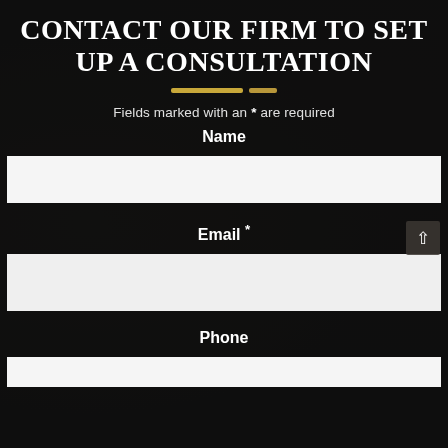CONTACT OUR FIRM TO SET UP A CONSULTATION
Fields marked with an * are required
Name
Email *
Phone